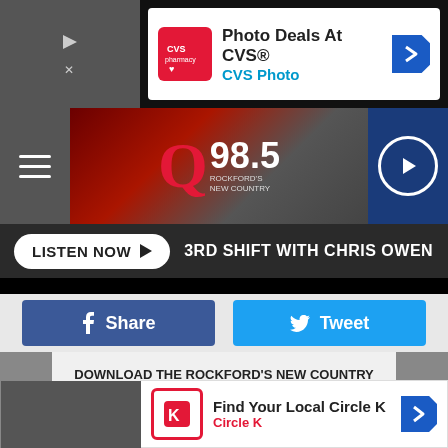[Figure (screenshot): CVS Photo ad banner: Photo Deals At CVS® with CVS Pharmacy logo and navigation arrow]
[Figure (logo): Q98.5 Rockford's New Country radio station header with menu icon and play button]
LISTEN NOW  3RD SHIFT WITH CHRIS OWEN
[Figure (screenshot): Facebook Share button and Twitter Tweet button]
DOWNLOAD THE ROCKFORD'S NEW COUNTRY Q98.5 MOBILE APP
Also listen on:  amazon alexa
[Figure (screenshot): Circle K ad banner: Find Your Local Circle K with Circle K logo and navigation arrow]